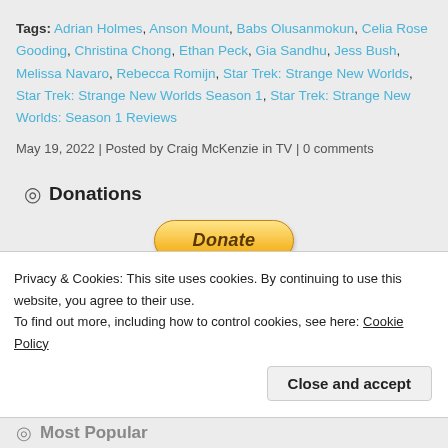Tags: Adrian Holmes, Anson Mount, Babs Olusanmokun, Celia Rose Gooding, Christina Chong, Ethan Peck, Gia Sandhu, Jess Bush, Melissa Navaro, Rebecca Romijn, Star Trek: Strange New Worlds, Star Trek: Strange New Worlds Season 1, Star Trek: Strange New Worlds: Season 1 Reviews
May 19, 2022 | Posted by Craig McKenzie in TV | 0 comments
Donations
[Figure (other): PayPal Donate button with payment icons (MasterCard, Maestro, Visa, Visa, Amex, Direct Debit)]
If you like our content and want to help
Privacy & Cookies: This site uses cookies. By continuing to use this website, you agree to their use.
To find out more, including how to control cookies, see here: Cookie Policy
Close and accept
Most Popular